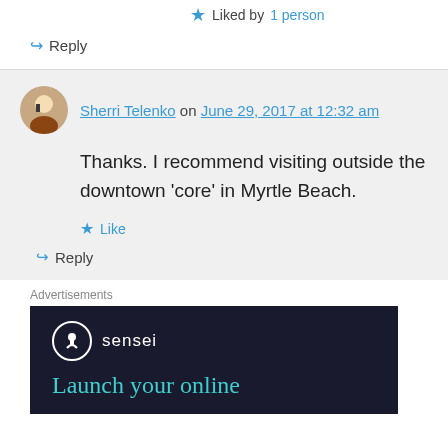Liked by 1 person
↳ Reply
Sherri Telenko on June 29, 2017 at 12:32 am
Thanks. I recommend visiting outside the downtown ‘core’ in Myrtle Beach.
★ Like
↳ Reply
Advertisements
[Figure (logo): Sensei advertisement with logo circle and 'Launch your online' text on dark background]